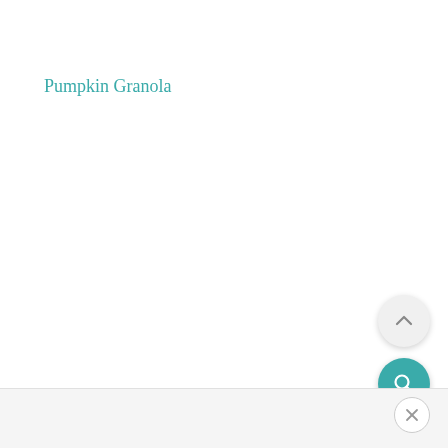Pumpkin Granola
[Figure (other): Scroll-to-top circular button with an upward chevron arrow, light gray background]
[Figure (other): Search circular button with magnifying glass icon, teal background]
[Figure (other): Close/dismiss circular button with X icon in footer bar, white background with gray border]